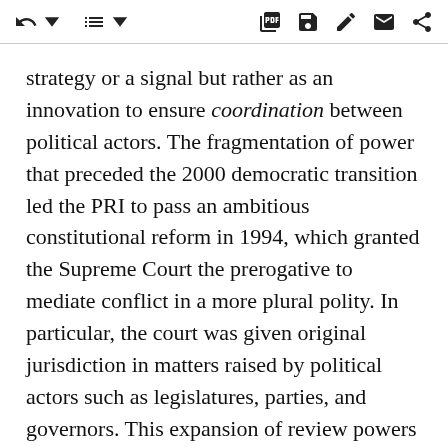[toolbar with navigation and action icons]
strategy or a signal but rather as an innovation to ensure coordination between political actors. The fragmentation of power that preceded the 2000 democratic transition led the PRI to pass an ambitious constitutional reform in 1994, which granted the Supreme Court the prerogative to mediate conflict in a more plural polity. In particular, the court was given original jurisdiction in matters raised by political actors such as legislatures, parties, and governors. This expansion of review powers turned it into a referee in disputes between the branches of the federal government, and between the federal government and the states, spheres in which the opposition was becoming increasingly salient.